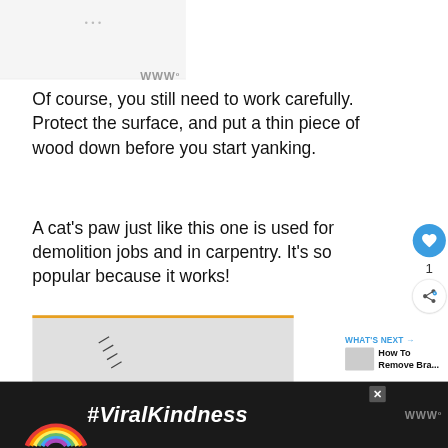[Figure (screenshot): Gray placeholder area at top of page with three small gray dots and a WW logo watermark at bottom right]
Of course, you still need to work carefully. Protect the surface, and put a thin piece of wood down before you start yanking.
A cat's paw just like this one is used for demolition jobs and in carpentry. It's so popular because it works!
[Figure (photo): Photo of a cat's paw demolition tool (crowbar) with black handle on gray background, framed with orange top border]
[Figure (infographic): What's Next panel showing a thumbnail and text 'How To Remove Bra...' with blue arrow]
[Figure (screenshot): Dark advertisement bar at bottom with rainbow graphic and #ViralKindness text in white italic, WW logo on right, X close button]